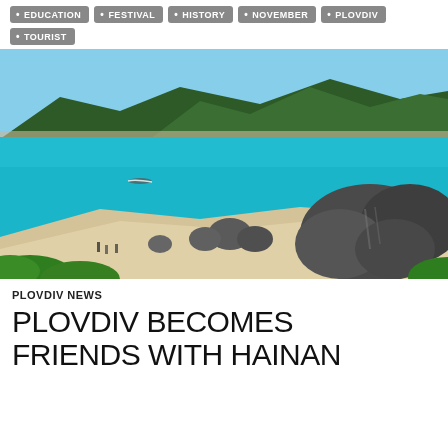EDUCATION
FESTIVAL
HISTORY
NOVEMBER
PLOVDIV
TOURIST
[Figure (photo): Aerial coastal scene with turquoise blue ocean, rocky boulders on a sandy beach, lush green trees in foreground, and mountains in background.]
PLOVDIV NEWS
PLOVDIV BECOMES FRIENDS WITH HAINAN